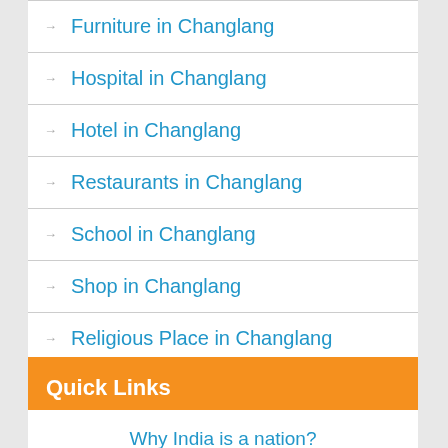Furniture in Changlang
Hospital in Changlang
Hotel in Changlang
Restaurants in Changlang
School in Changlang
Shop in Changlang
Religious Place in Changlang
Theaters in Changlang
Quick Links
Why India is a nation?